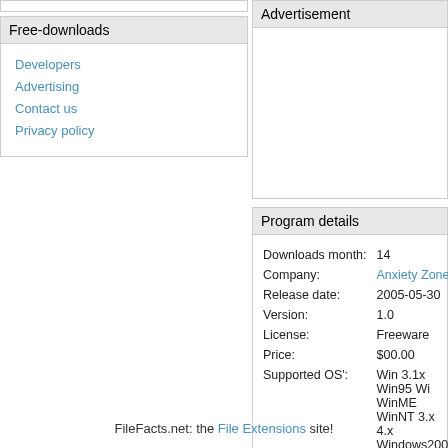Free-downloads
Developers
Advertising
Contact us
Privacy policy
Advertisement
Program details
| Field | Value |
| --- | --- |
| Downloads month: | 14 |
| Company: | Anxiety Zone |
| Release date: | 2005-05-30 |
| Version: | 1.0 |
| License: | Freeware |
| Price: | $00.00 |
| Supported OS': | Win 3.1x Win95 Wi... WinME WinNT 3.x ... 4.x Windows2000 W... Unix Linux |
| Homepage: | Visit website |
FileFacts.net: the File Extensions site!